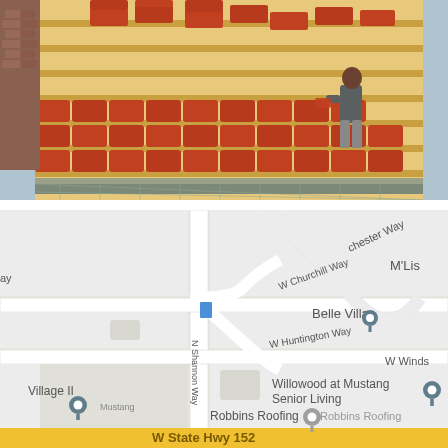[Figure (photo): A roofer/worker installing red clay roof tiles on a building under construction. The tiles are laid in diagonal stacking pattern on wooden battens/lath. A person in grey shirt and pants is crouched near the right side of the roof working on tile installation.]
[Figure (map): Google Maps screenshot showing a neighborhood map with streets labeled: Chester Way, W Churchill Way, W Huntington Way, N Shannon Way, W Winds, M'Lis, Belle Villa (with pin), Willowood at Mustang Senior Living (with pin), Robbins Roofing (with two pins), Village II (with pin), W State Hwy 152 at bottom. A yellow bar at the bottom indicates State Hwy 152.]